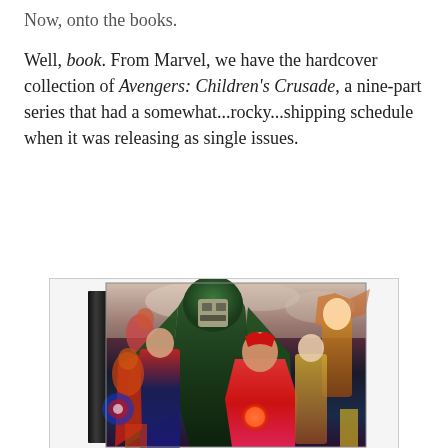Now, onto the books.
Well, book. From Marvel, we have the hardcover collection of Avengers: Children's Crusade, a nine-part series that had a somewhat...rocky...shipping schedule when it was releasing as single issues.
[Figure (photo): Hardcover book of Avengers: Children's Crusade showing comic book cover art with Doctor Doom in green hooded cloak at center, Scarlet Witch in red costume, and multiple Marvel superheroes in dynamic action poses against a dramatic background.]